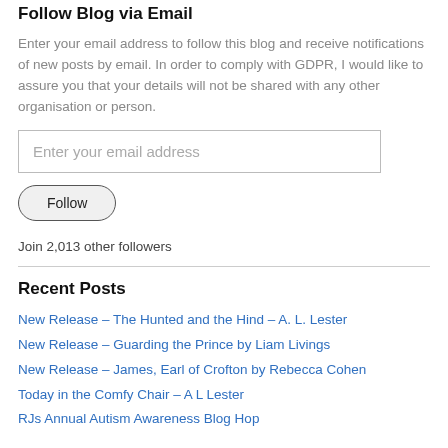Follow Blog via Email
Enter your email address to follow this blog and receive notifications of new posts by email. In order to comply with GDPR, I would like to assure you that your details will not be shared with any other organisation or person.
Enter your email address
Follow
Join 2,013 other followers
Recent Posts
New Release – The Hunted and the Hind – A. L. Lester
New Release – Guarding the Prince by Liam Livings
New Release – James, Earl of Crofton by Rebecca Cohen
Today in the Comfy Chair – A L Lester
RJs Annual Autism Awareness Blog Hop